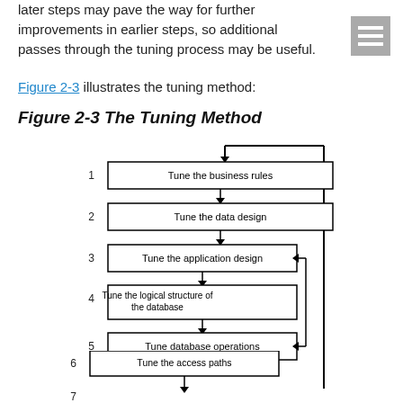later steps may pave the way for further improvements in earlier steps, so additional passes through the tuning process may be useful.
Figure 2-3 illustrates the tuning method:
Figure 2-3 The Tuning Method
[Figure (flowchart): Flowchart showing The Tuning Method with 8 sequential steps: 1. Tune the business rules, 2. Tune the data design, 3. Tune the application design, 4. Tune the logical structure of the database, 5. Tune database operations, 6. Tune the access paths, 7. Tune memory allocation, 8. Tune the I/O and physical structure. Steps are connected by downward arrows with feedback arrows looping back from step 8 to steps 7, 5, and 3. A loop arrow on the right side connects back to the top.]